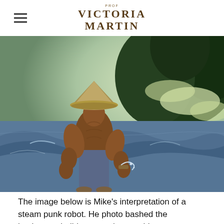PROF VICTORIA MARTIN
[Figure (illustration): Comic-book style illustration of a muscular character wearing a conical straw hat and blue pants, facing away, standing near turbulent ocean waves with dark green rocky cliffs in the background.]
The image below is Mike's interpretation of a steam punk robot. He photo bashed the background, did some color matching to create turmoil and then he